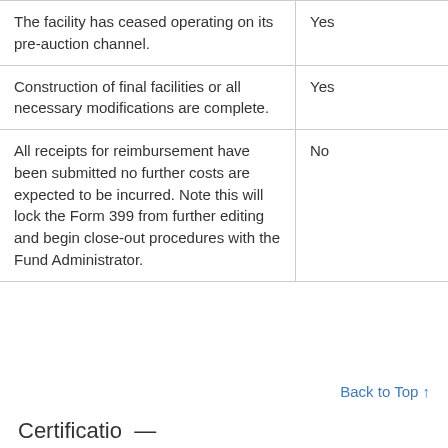| The facility has ceased operating on its pre-auction channel. | Yes |
| Construction of final facilities or all necessary modifications are complete. | Yes |
| All receipts for reimbursement have been submitted no further costs are expected to be incurred. Note this will lock the Form 399 from further editing and begin close-out procedures with the Fund Administrator. | No |
Back to Top ↑
Certificatio—